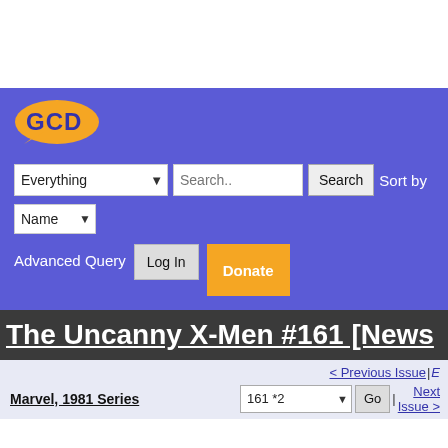[Figure (logo): GCD (Grand Comics Database) logo in orange, oval shape]
Everything (dropdown) Search.. Search Sort by Name (dropdown)
Advanced Query  Log In  Donate
The Uncanny X-Men #161 [News...
< Previous Issue | ...
Marvel, 1981 Series  161 *2  Go  | Next Issue >